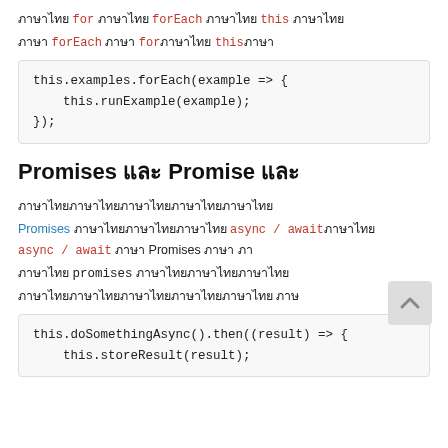ภาษาไทย for ภาษาไทย forEach ภาษาไทย this ภาษาไทย
ภาษา forEach ภาษา forภาษาไทย this ภาษา
this.examples.forEach(example => {
    this.runExample(example);
});
Promises และ Promise และ
ภาษาไทยภาษาไทยภาษาไทยภาษาไทยภาษาไทย
Promises ภาษาไทยภาษาไทยภาษาไทย async / await ภาษาไทย
async / await ภาษา Promises ภาษา ภา
ภาษาไทย promises ภาษาไทยภาษาไทยภาษาไทย
ภาษาไทยภาษาไทยภาษาไทยภาษาไทยภาษาไทย ภาษ
this.doSomethingAsync().then((result) => {
    this.storeResult(result);